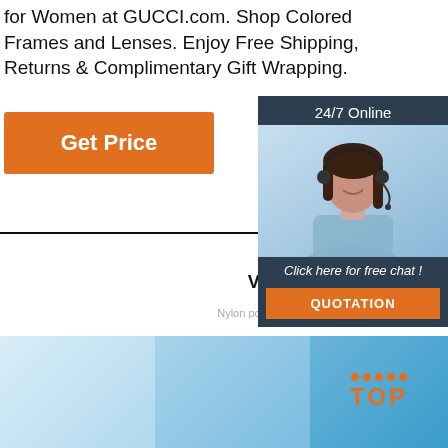for Women at GUCCI.com. Shop Colored Frames and Lenses. Enjoy Free Shipping, Returns & Complimentary Gift Wrapping.
Get Price
24/7 Online
[Figure (photo): Woman with headset smiling, customer service representative]
Click here for free chat !
QUOTATION
HIGH DEFINITION VISION AND FREE VISION
Nylon polarizing lens, filter, glare and UV, restore clear vision
[Figure (other): TOP badge with orange dots and text on blue gradient background]
[Figure (photo): Blue gradient image strip at bottom of page]